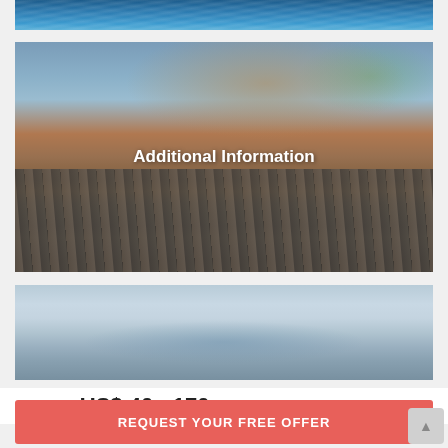[Figure (photo): Partial view of ocean/water waves, top of page]
[Figure (photo): Hotel pool area with striped loungers and towels, mountain landscape in background, sky above]
Additional Information
[Figure (photo): Pool or outdoor area with calm water and sky, partial view]
PP/NIGHT  US$ 40 - 170
REQUEST YOUR FREE OFFER